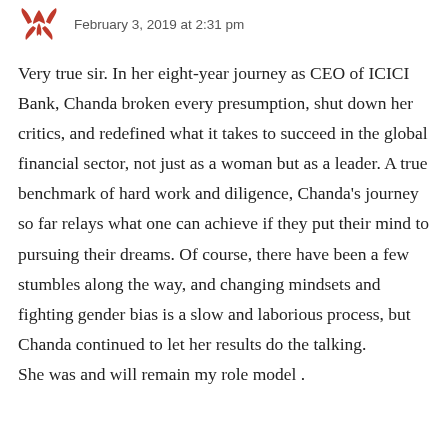[Figure (logo): Red decorative icon/logo resembling a stylized bird or fleur-de-lis in dark red/maroon]
February 3, 2019 at 2:31 pm
Very true sir. In her eight-year journey as CEO of ICICI Bank, Chanda broken every presumption, shut down her critics, and redefined what it takes to succeed in the global financial sector, not just as a woman but as a leader. A true benchmark of hard work and diligence, Chanda's journey so far relays what one can achieve if they put their mind to pursuing their dreams. Of course, there have been a few stumbles along the way, and changing mindsets and fighting gender bias is a slow and laborious process, but Chanda continued to let her results do the talking.
She was and will remain my role model .